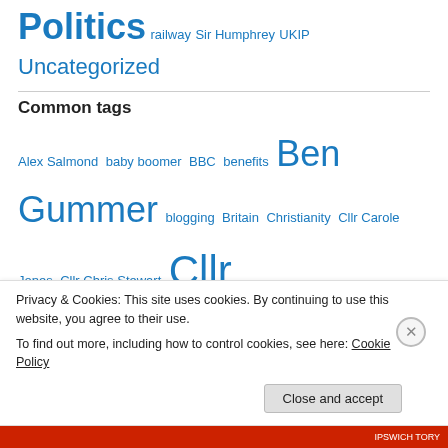Politics  railway  Sir Humphrey  UKIP  Uncategorized
Common tags
Alex Salmond  baby boomer  BBC  benefits  Ben Gummer  blogging  Britain  Christianity  Cllr Carole Jones  Cllr Chris Stewart  Cllr David Ellesmere  Cllr John Carnall  Cllr Liz Harsant  Cllr Nadia Cenci  Coalition  Coalition Government  Conservative  Conservative Party  Conservatives  council tax
Privacy & Cookies: This site uses cookies. By continuing to use this website, you agree to their use. To find out more, including how to control cookies, see here: Cookie Policy
Close and accept